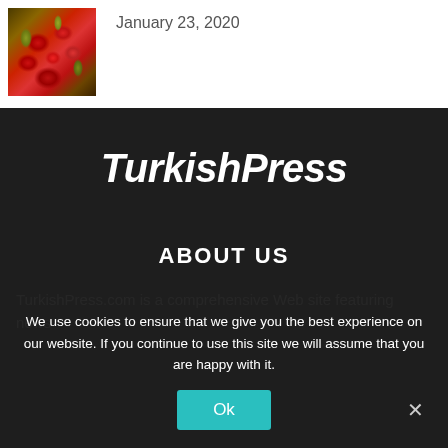[Figure (photo): Microscopic image showing red/pink bacterial or cellular structures against a greenish-yellow background]
January 23, 2020
TurkishPress
ABOUT US
TurkishPress.com is a comprehensive Web site featuring news
We use cookies to ensure that we give you the best experience on our website. If you continue to use this site we will assume that you are happy with it.
Ok